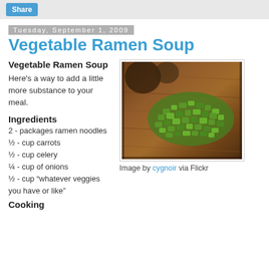Share
Tuesday, September 1, 2009
Vegetable Ramen Soup
Vegetable Ramen Soup
Here's a way to add a little more substance to your meal.
[Figure (photo): Chopped green vegetables (celery) on a wooden cutting board]
Image by cygnoir via Flickr
Ingredients
2 - packages ramen noodles
½ - cup carrots
½ - cup celery
¼ - cup of onions
½ - cup “whatever veggies you have or like”
Cooking